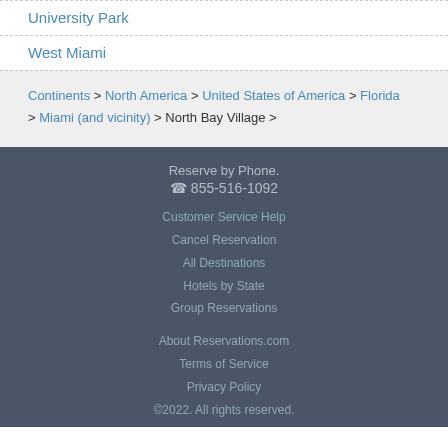University Park
West Miami
Continents > North America > United States of America > Florida > Miami (and vicinity) > North Bay Village >
Reserve by Phone. 855-516-1092 Customer Service Help Cancel Reservation All Destinations Hotels by State Group Reservations About Reservations.com Terms of Service Privacy Policy ©2022. All rights reserved.